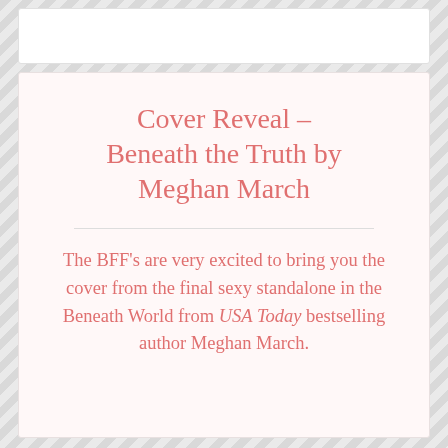Cover Reveal – Beneath the Truth by Meghan March
The BFF's are very excited to bring you the cover from the final sexy standalone in the Beneath World from USA Today bestselling author Meghan March.